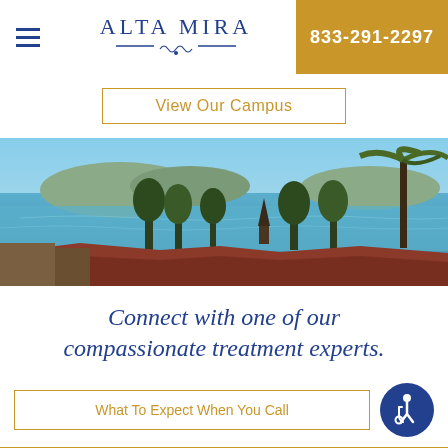ALTA MIRA  833-291-2297
View Our Campus
[Figure (photo): Panoramic view of San Francisco Bay from Alta Mira campus showing blue water, green trees, hills in background, and red-tiled rooftop in foreground]
Connect with one of our compassionate treatment experts.
What To Expect When You Call
Admissions 833-291-2297